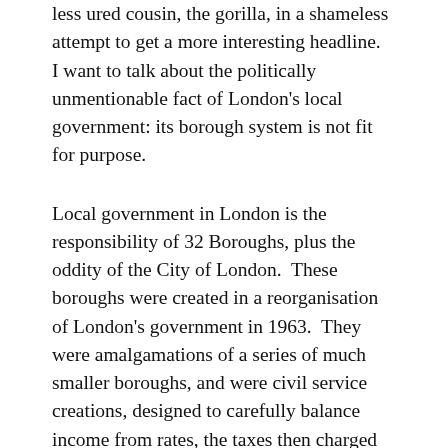less ured cousin, the gorilla, in a shameless attempt to get a more interesting headline.  I want to talk about the politically unmentionable fact of London's local government: its borough system is not fit for purpose.
Local government in London is the responsibility of 32 Boroughs, plus the oddity of the City of London.  These boroughs were created in a reorganisation of London's government in 1963.  They were amalgamations of a series of much smaller boroughs, and were civil service creations, designed to carefully balance income from rates, the taxes then charged on both business and residential properties – and which funded a large part of each borough's activities.  Inner London districts, like Vauxhall, were paired with leafier areas like Streatham.  There was little or no attempt made at geographical coherence.  They were more or less